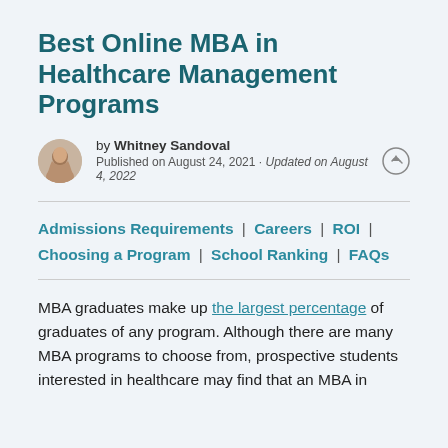Best Online MBA in Healthcare Management Programs
by Whitney Sandoval
Published on August 24, 2021 · Updated on August 4, 2022
Admissions Requirements | Careers | ROI | Choosing a Program | School Ranking | FAQs
MBA graduates make up the largest percentage of graduates of any program. Although there are many MBA programs to choose from, prospective students interested in healthcare may find that an MBA in